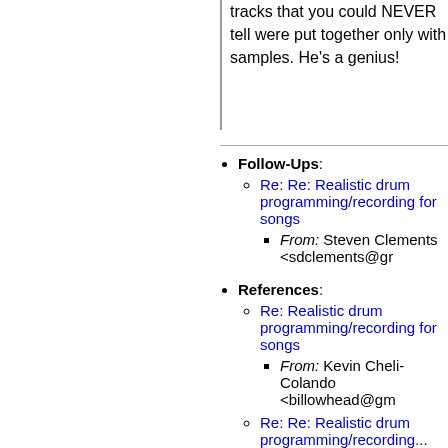tracks that you could NEVER tell were put together only with samples. He's a genius!
Follow-Ups: Re: Re: Realistic drum programming/recording for songs — From: Steven Clements <sdclements@g...
References: Re: Realistic drum programming/recording for songs — From: Kevin Cheli-Colando <billowhead@gm... | Re: Re: Realistic drum programming/recording...